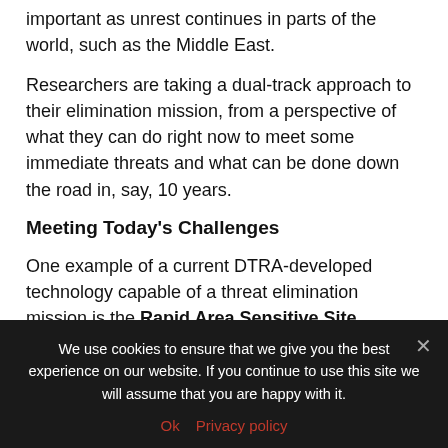important as unrest continues in parts of the world, such as the Middle East.
Researchers are taking a dual-track approach to their elimination mission, from a perspective of what they can do right now to meet some immediate threats and what can be done down the road in, say, 10 years.
Meeting Today's Challenges
One example of a current DTRA-developed technology capable of a threat elimination mission is the Rapid Area Sensitive Site Reconnaissance
We use cookies to ensure that we give you the best experience on our website. If you continue to use this site we will assume that you are happy with it.
Ok   Privacy policy